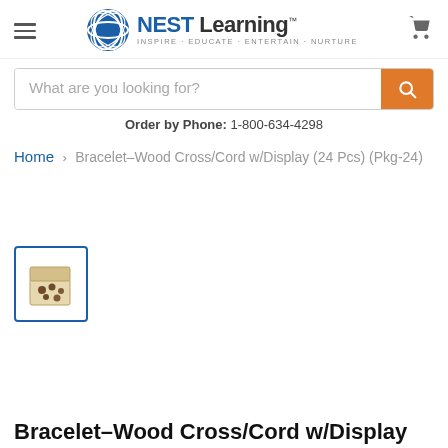[Figure (logo): NEST Learning logo with circular blue wave graphic and tagline INSPIRE · EDUCATE · ENTERTAIN · NURTURE]
What are you looking for?
Order by Phone: 1-800-634-4298
Home > Bracelet-Wood Cross/Cord w/Display (24 Pcs) (Pkg-24)
[Figure (photo): Small thumbnail of Bracelet-Wood Cross/Cord w/Display box, inside a blue-bordered square]
Bracelet-Wood Cross/Cord w/Display